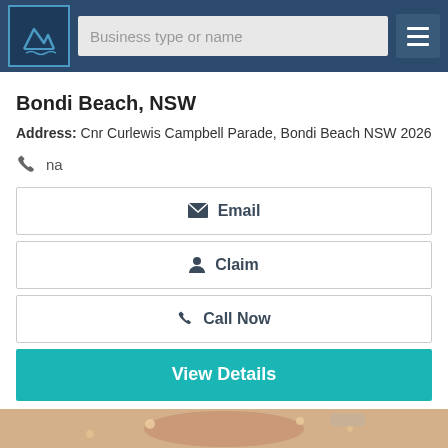Business type or name
Bondi Beach, NSW
Address: Cnr Curlewis Campbell Parade, Bondi Beach NSW 2026
na
Email
Claim
Call Now
View Details
[Figure (photo): Interior of a venue/bar with warm ceiling lights, red accent lighting, and dark walls with patterned wallpaper]